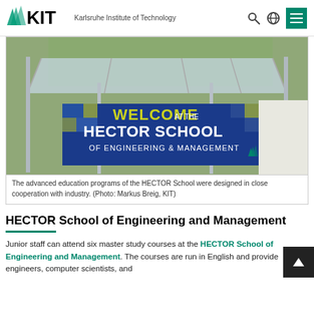KIT – Karlsruhe Institute of Technology
[Figure (photo): Photo of a glass canopy structure with a blue banner reading 'WELCOME AT THE HECTOR SCHOOL OF ENGINEERING & MANAGEMENT' with KIT logo]
The advanced education programs of the HECTOR School were designed in close cooperation with industry. (Photo: Markus Breig, KIT)
HECTOR School of Engineering and Management
Junior staff can attend six master study courses at the HECTOR School of Engineering and Management. The courses are run in English and provide engineers, computer scientists, and